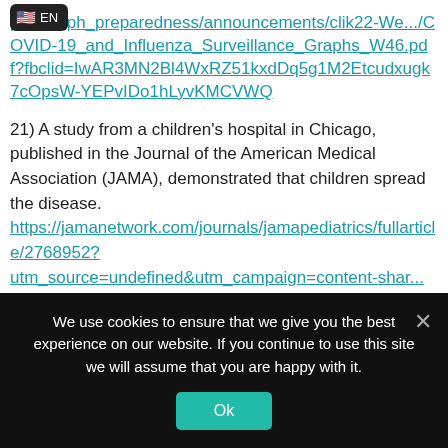ph.../.../ph_preparedness/announcements/clik22-We.../COVID-19_and_Influenza_Surveillance_Graphs_W46.pdf?fbclid=IwAR3MN2Bl4WxRZ51kxdDq5g1M2Etcudxugk7cOpsW-YEPvIDo1hLyvKMCVWQ
21) A study from a children's hospital in Chicago, published in the Journal of the American Medical Association (JAMA), demonstrated that children spread the disease. https://jamanetwork.com/journals/jamapediatrics/fullarticle/2768952?utm_source=undefined&utm_campaign=content-share...
We use cookies to ensure that we give you the best experience on our website. If you continue to use this site we will assume that you are happy with it.